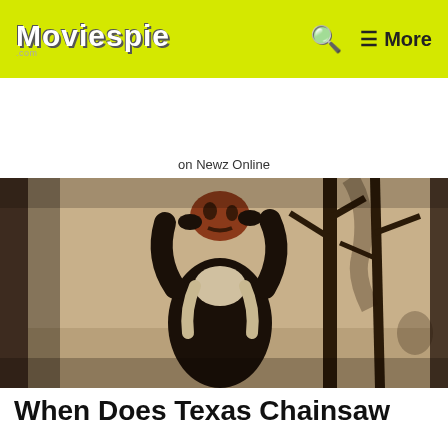Moviespie .com
on Newz Online
[Figure (photo): A person holding up a mask (resembling a horror movie character) above their head, with dark silhouetted tree branches in the background. The scene is dim and atmospheric, evoking a horror movie still.]
When Does Texas Chainsaw